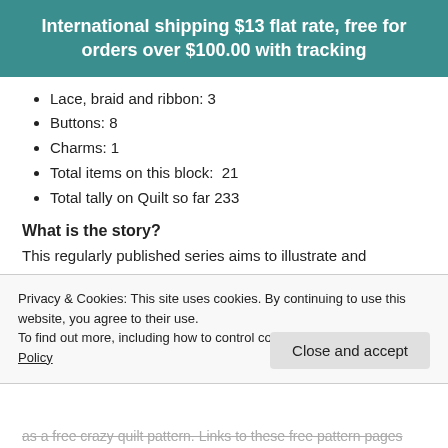International shipping $13 flat rate, free for orders over $100.00 with tracking
Lace, braid and ribbon: 3
Buttons: 8
Charms: 1
Total items on this block:  21
Total tally on Quilt so far 233
What is the story?
This regularly published series aims to illustrate and document the hand embroidered seams, embellishments and decorations on my crazy quilt I dropped the button box. All articles are categorised in the projects under Crazy Quilt details which enables readers to browse back through the
Privacy & Cookies: This site uses cookies. By continuing to use this website, you agree to their use.
To find out more, including how to control cookies, see here: Cookie Policy
as a free crazy quilt pattern. Links to these free pattern pages